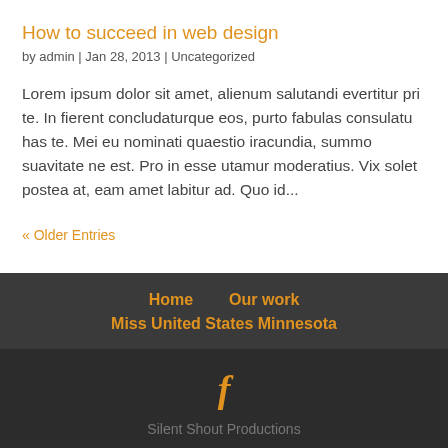How to succeed in web design
by admin | Jan 28, 2013 | Uncategorized
Lorem ipsum dolor sit amet, alienum salutandi evertitur pri te. In fierent concludaturque eos, purto fabulas consulatu has te. Mei eu nominati quaestio iracundia, summo suavitate ne est. Pro in esse utamur moderatius. Vix solet postea at, eam amet labitur ad. Quo id...
« Older Entries
Home   Our work   Miss United States Minnesota
f   Silent Shout Productions